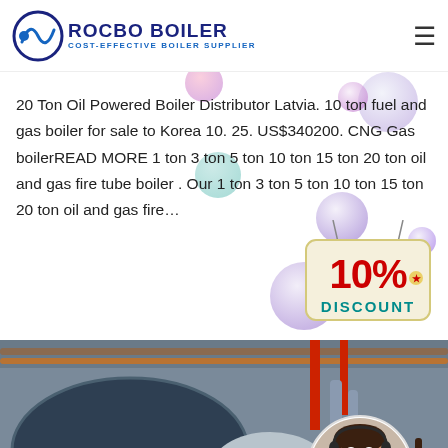ROCBO BOILER — COST-EFFECTIVE BOILER SUPPLIER
20 Ton Oil Powered Boiler Distributor Latvia. 10 ton fuel and gas boiler for sale to Korea 10. 25. US$340200. CNG Gas boilerREAD MORE 1 ton 3 ton 5 ton 10 ton 15 ton 20 ton oil and gas fire tube boiler . Our 1 ton 3 ton 5 ton 10 ton 15 ton 20 ton oil and gas fire…
[Figure (infographic): 10% DISCOUNT badge/sign with decorative bubbles]
[Figure (photo): Industrial boiler room with large cylindrical boiler equipment and pipes; inset circular photo of smiling female customer service representative with headset]